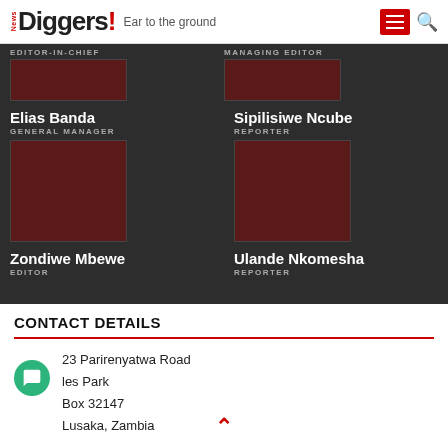News Diggers! Ear to the ground
EDITOR-IN-CHIEF
MANAGING EDITOR
Elias Banda
GENERAL MANAGER
[Figure (photo): Staff photo placeholder for Elias Banda]
Sipilisiwe Ncube
REPORTER
[Figure (photo): Staff photo placeholder for Sipilisiwe Ncube]
Zondiwe Mbewe
EDITOR
[Figure (photo): Staff photo placeholder for Zondiwe Mbewe]
Ulande Nkomesha
REPORTER
[Figure (photo): Staff photo placeholder for Ulande Nkomesha]
CONTACT DETAILS
23 Parirenyatwa Road
les Park
Box 32147
Lusaka, Zambia